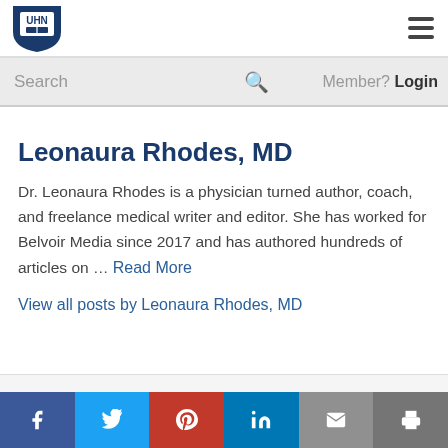[Figure (logo): UHN shield logo with book icon in dark navy blue]
UHN logo and hamburger menu navigation
Search
Member? Login
Leonaura Rhodes, MD
Dr. Leonaura Rhodes is a physician turned author, coach, and freelance medical writer and editor. She has worked for Belvoir Media since 2017 and has authored hundreds of articles on … Read More
View all posts by Leonaura Rhodes, MD
Social share bar: Facebook, Twitter, Pinterest, LinkedIn, Email, Print